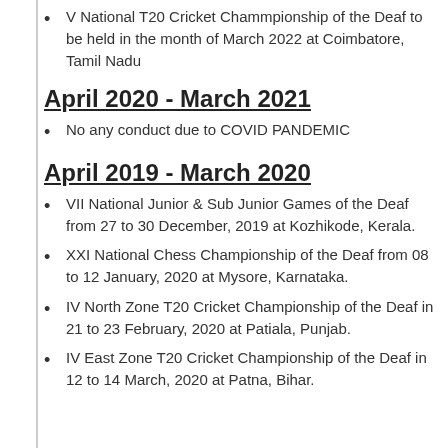V National T20 Cricket Chammpionship of the Deaf to be held in the month of March 2022 at Coimbatore, Tamil Nadu
April 2020 - March 2021
No any conduct due to COVID PANDEMIC
April 2019 - March 2020
VII National Junior & Sub Junior Games of the Deaf from 27 to 30 December, 2019 at Kozhikode, Kerala.
XXI National Chess Championship of the Deaf from 08 to 12 January, 2020 at Mysore, Karnataka.
IV North Zone T20 Cricket Championship of the Deaf in 21 to 23 February, 2020 at Patiala, Punjab.
IV East Zone T20 Cricket Championship of the Deaf in 12 to 14 March, 2020 at Patna, Bihar.